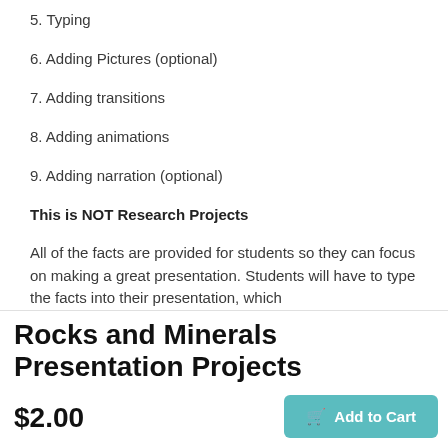5. Typing
6. Adding Pictures (optional)
7. Adding transitions
8. Adding animations
9. Adding narration (optional)
This is NOT Research Projects
All of the facts are provided for students so they can focus on making a great presentation. Students will have to type the facts into their presentation, which
Rocks and Minerals Presentation Projects
$2.00
Add to Cart